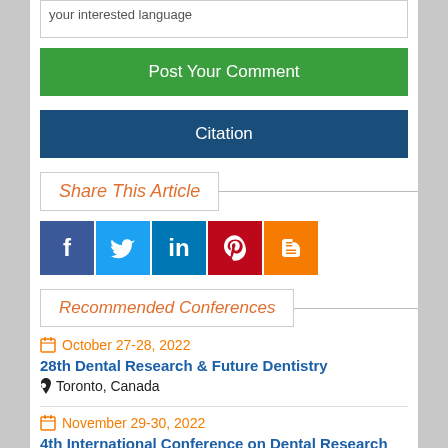your interested language
Post Your Comment
Citation
Share This Article
[Figure (other): Social sharing icons: Facebook, Twitter, LinkedIn, Pinterest, Blogger]
Recommended Conferences
October 27-28, 2022
28th Dental Research & Future Dentistry
Toronto, Canada
November 29-30, 2022
4th International Conference on Dental Research and Dental Treatments